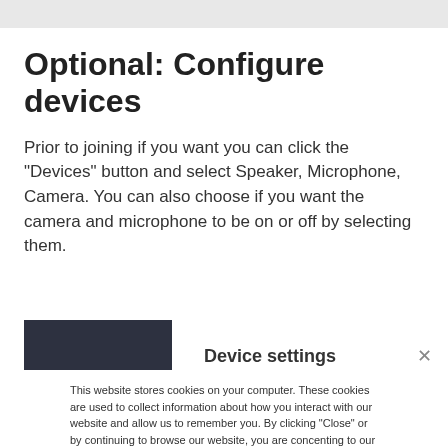Optional: Configure devices
Prior to joining if you want you can click the "Devices" button and select Speaker, Microphone, Camera. You can also choose if you want the camera and microphone to be on or off by selecting them.
[Figure (screenshot): Partial screenshot showing a dark camera preview panel on the left and 'Device settings' label with a close X button on the right]
This website stores cookies on your computer. These cookies are used to collect information about how you interact with our website and allow us to remember you. By clicking "Close" or by continuing to browse our website, you are concenting to our use of cookies as described in our Privacy Statement.
Close